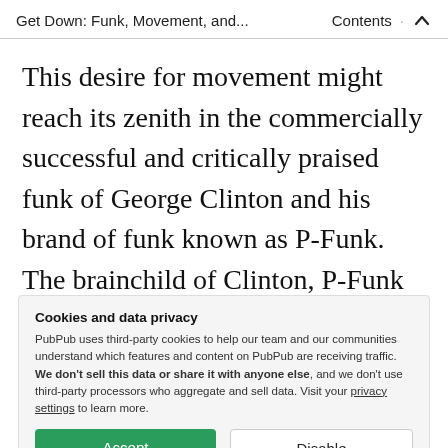Get Down: Funk, Movement, and... · Contents ^
This desire for movement might reach its zenith in the commercially successful and critically praised funk of George Clinton and his brand of funk known as P-Funk. The brainchild of Clinton, P-Funk blends funk with rock and psychedelic music. This musical concoction is accompanied by
Cookies and data privacy
PubPub uses third-party cookies to help our team and our communities understand which features and content on PubPub are receiving traffic. We don't sell this data or share it with anyone else, and we don't use third-party processors who aggregate and sell data. Visit your privacy settings to learn more.
[Accept] [Disable]
projects of the members. Clinton's